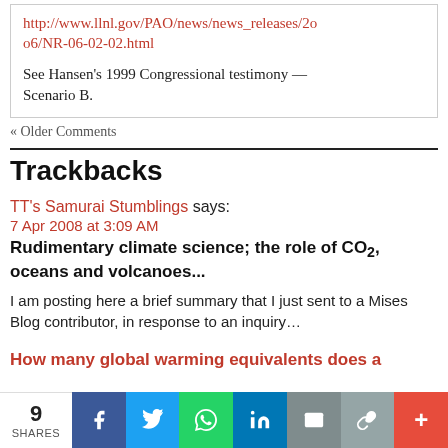http://www.llnl.gov/PAO/news/news_releases/2006/NR-06-02-02.html
See Hansen's 1999 Congressional testimony — Scenario B.
« Older Comments
Trackbacks
TT's Samurai Stumblings says:
7 Apr 2008 at 3:09 AM
Rudimentary climate science; the role of CO2, oceans and volcanoes...
I am posting here a brief summary that I just sent to a Mises Blog contributor, in response to an inquiry...
How many global warming equivalents does a
9 SHARES | f | Twitter | WhatsApp | in | Email | Link | +